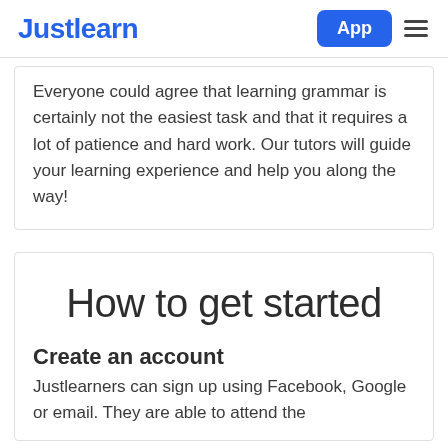Justlearn | App
Everyone could agree that learning grammar is certainly not the easiest task and that it requires a lot of patience and hard work. Our tutors will guide your learning experience and help you along the way!
How to get started
Create an account
Justlearners can sign up using Facebook, Google or email. They are able to attend the